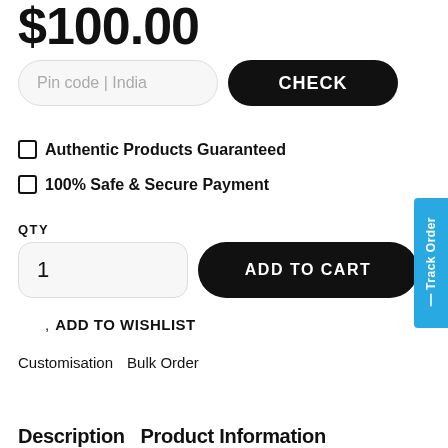$100.00
Pin code | India
CHECK
Authentic Products Guaranteed
100% Safe & Secure Payment
QTY
1
ADD TO CART
ADD TO WISHLIST
Customisation  Bulk Order
Description  Product Information
Track Order